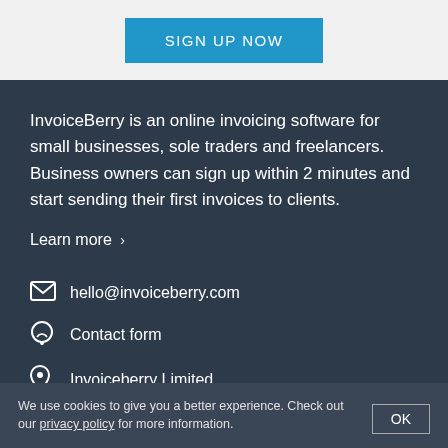[Figure (other): Sign Up Now button — blue rectangle with white text 'SIGN UP NOW']
InvoiceBerry is an online invoicing software for small businesses, sole traders and freelancers. Business owners can sign up within 2 minutes and start sending their first invoices to clients.
Learn more >
hello@invoiceberry.com
Contact form
Invoiceberry Limited
We use cookies to give you a better experience. Check out our privacy policy for more information.